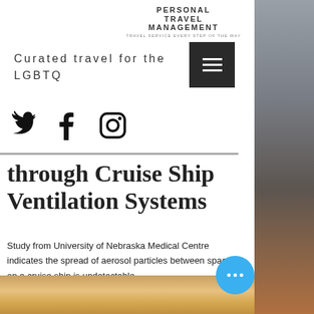PERSONAL TRAVEL MANAGEMENT
TRAVEL SERVICE EVERY STEP OF THE WAY
Curated travel for the LGBTQ
through Cruise Ship Ventilation Systems
Study from University of Nebraska Medical Centre indicates the spread of aerosol particles between spaces on a cruise ship is undetectable.
[Figure (photo): Cloudy sky photograph at the bottom of the page]